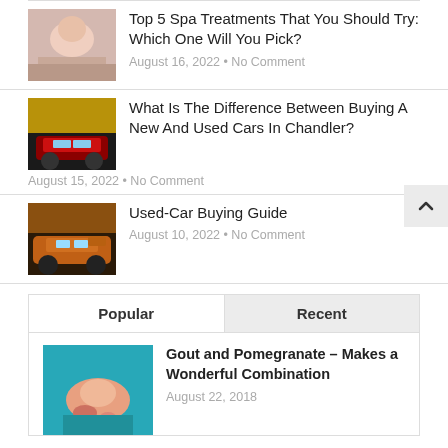[Figure (photo): Thumbnail of person receiving spa treatment]
Top 5 Spa Treatments That You Should Try: Which One Will You Pick?
August 16, 2022 • No Comment
[Figure (photo): Thumbnail of red SUV car]
What Is The Difference Between Buying A New And Used Cars In Chandler?
August 15, 2022 • No Comment
[Figure (photo): Thumbnail of orange off-road vehicle]
Used-Car Buying Guide
August 10, 2022 • No Comment
Popular
Recent
[Figure (photo): Thumbnail of gout/foot medical image on teal background]
Gout and Pomegranate – Makes a Wonderful Combination
August 22, 2018